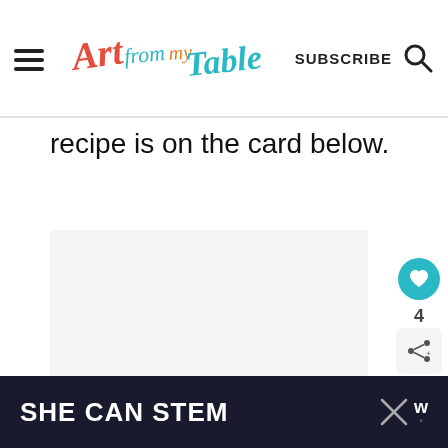Art from my Table — SUBSCRIBE [search icon]
recipe is on the card below.
[Figure (screenshot): Light gray advertisement placeholder area with three small gray dots indicating a carousel or loading state]
WHAT'S NEXT → Portfolio
[Figure (screenshot): Dark navy banner advertisement reading SHE CAN STEM with a close X button and a W logo on the right]